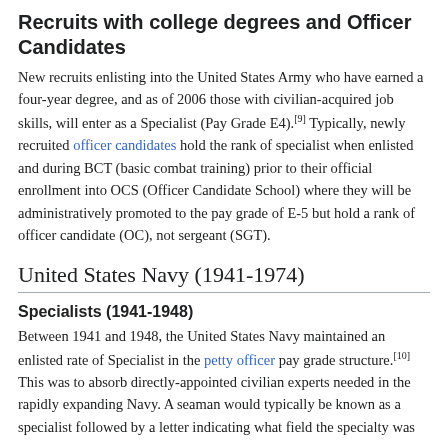Recruits with college degrees and Officer Candidates
New recruits enlisting into the United States Army who have earned a four-year degree, and as of 2006 those with civilian-acquired job skills, will enter as a Specialist (Pay Grade E4).[9] Typically, newly recruited officer candidates hold the rank of specialist when enlisted and during BCT (basic combat training) prior to their official enrollment into OCS (Officer Candidate School) where they will be administratively promoted to the pay grade of E-5 but hold a rank of officer candidate (OC), not sergeant (SGT).
United States Navy (1941-1974)
Specialists (1941-1948)
Between 1941 and 1948, the United States Navy maintained an enlisted rate of Specialist in the petty officer pay grade structure.[10] This was to absorb directly-appointed civilian experts needed in the rapidly expanding Navy. A seaman would typically be known as a specialist followed by a letter indicating what field the specialty was